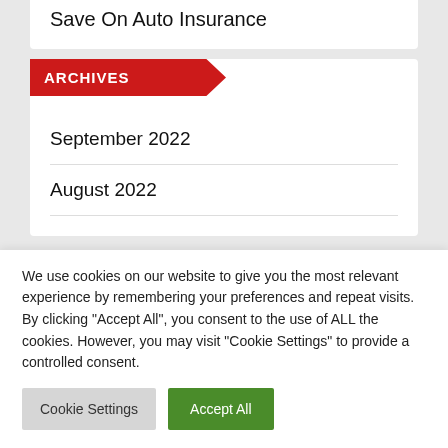Save On Auto Insurance
ARCHIVES
September 2022
August 2022
We use cookies on our website to give you the most relevant experience by remembering your preferences and repeat visits. By clicking "Accept All", you consent to the use of ALL the cookies. However, you may visit "Cookie Settings" to provide a controlled consent.